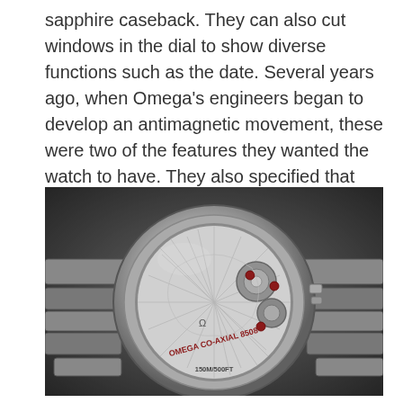sapphire caseback. They can also cut windows in the dial to show diverse functions such as the date. Several years ago, when Omega's engineers began to develop an antimagnetic movement, these were two of the features they wanted the watch to have. They also specified that the watch should have the precision of a chronometer.
[Figure (photo): Close-up black and white photograph of the back of an Omega watch showing the sapphire caseback with 'OMEGA CO-AXIAL 8508' engraved text visible through the transparent case. The movement is visible with jewels and mechanical components. The watch is on a metal bracelet. Text '150M/500FT' is visible on the caseback.]